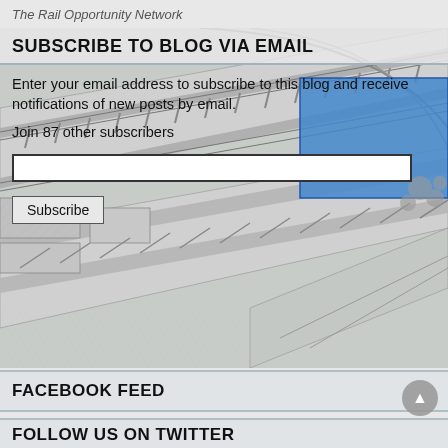The Rail Opportunity Network
SUBSCRIBE TO BLOG VIA EMAIL
[Figure (engineering-diagram): Blueprint/technical drawing of a railway or transit infrastructure plan showing tracks, roads, and a blue highlighted area, rendered in black and white with hatching patterns.]
Enter your email address to subscribe to this blog and receive notifications of new posts by email.
Join 87 other subscribers
FACEBOOK FEED
FOLLOW US ON TWITTER